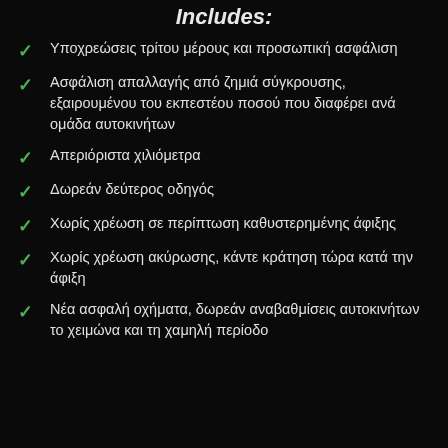Includes:
Υποχρεώσεις τρίτου μέρους και προσωπική ασφάλιση
Ασφάλιση απαλλαγής από ζημιά σύγκρουσης, εξαιρουμένου του εκπεστέου ποσού που διαφέρει ανά ομάδα αυτοκινήτων
Απεριόριστα χιλιόμετρα
Δωρεάν δεύτερος οδηγός
Χωρίς χρέωση σε περίπτωση καθυστερημένης άφιξης
Χωρίς χρέωση ακύρωσης, κάντε κράτηση τώρα κατά την άφιξη
Νέα ασφαλή οχήματα, δωρεάν αναβαθμίσεις αυτοκινήτων το χειμώνα και τη χαμηλή περίοδο